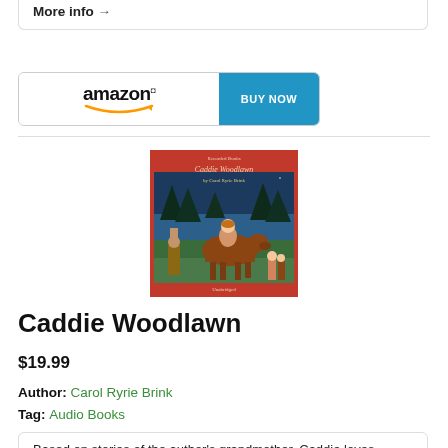More info →
[Figure (logo): Amazon logo with BUY NOW button]
[Figure (illustration): Book cover of Caddie Woodlawn by Carol Ryrie Brink, showing a girl on horseback with Native Americans and children in the background, with a winter forest scene. Red border with title text.]
Caddie Woodlawn
$19.99
Author: Carol Ryrie Brink
Tag: Audio Books
Based on stories of the author's grandmother, Caddie loves hunting and pranks, but refuses to